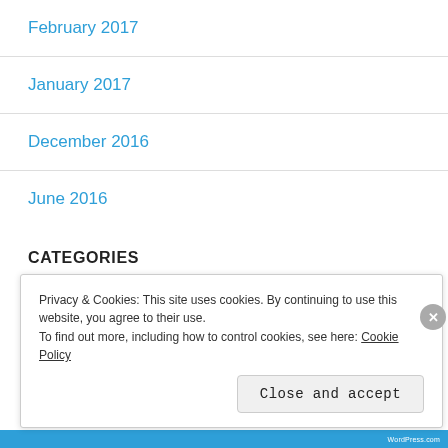February 2017
January 2017
December 2016
June 2016
CATEGORIES
Uncategorized
Privacy & Cookies: This site uses cookies. By continuing to use this website, you agree to their use.
To find out more, including how to control cookies, see here: Cookie Policy
Close and accept